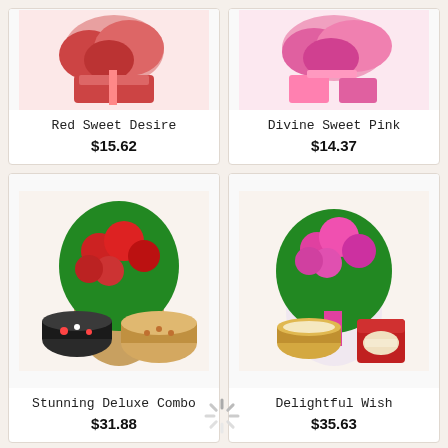[Figure (photo): Red Sweet Desire product - flowers and sweet items]
Red Sweet Desire
$15.62
[Figure (photo): Divine Sweet Pink product - pink flowers and sweets]
Divine Sweet Pink
$14.37
[Figure (photo): Stunning Deluxe Combo - bouquet of red roses with two cakes]
Stunning Deluxe Combo
$31.88
[Figure (photo): Delightful Wish - bouquet of pink roses with sweets and a tin]
Delightful Wish
$35.63
[Figure (other): Loading spinner icon]